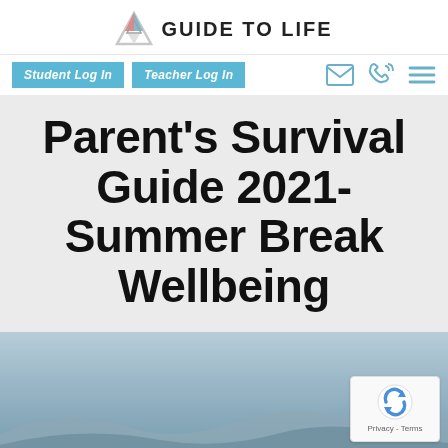GUIDE TO LIFE
Student Log In | Teacher Log In
Parent's Survival Guide 2021- Summer Break Wellbeing
[Figure (photo): Outdoor landscape scene with sky and hills, partially visible at bottom of page. reCAPTCHA Privacy - Terms badge in bottom right corner.]